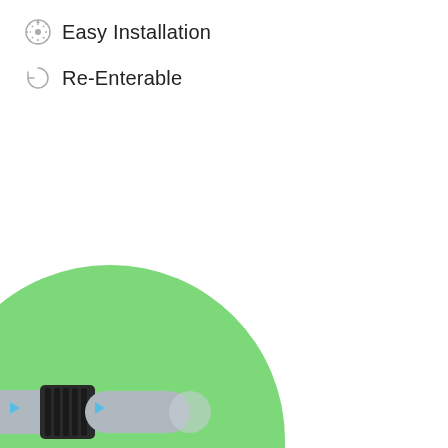Easy Installation
Re-Enterable
[Figure (illustration): Close-up 3D illustration of cable entry sealing modules (grey cylindrical cables with black ribbed/corrugated sealing grommets) inserted through a green circular base plate, with small blue arrows indicating direction of insertion.]